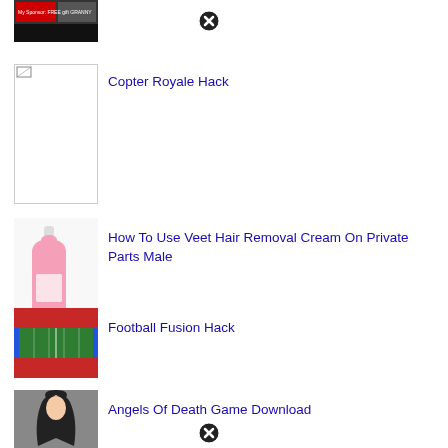[Figure (screenshot): Small thumbnail image of a gaming/ad screenshot at top left]
[Figure (other): Close/delete button (circled X) icon at top center]
Copter Royale Hack
[Figure (photo): Blank/placeholder thumbnail for Copter Royale Hack]
How To Use Veet Hair Removal Cream On Private Parts Male
[Figure (photo): Photo of a pink Veet hair removal cream bottle]
Football Fusion Hack
[Figure (photo): Photo of a football stadium aerial view with blue/red field]
Angels Of Death Game Download
[Figure (photo): Photo of anime character with dark hair]
[Figure (other): Close/delete button (circled X) icon at bottom center]